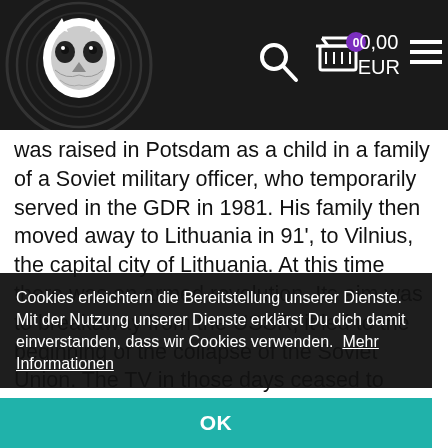Logo / Search / 0 / 0,00 EUR / Menu
was raised in Potsdam as a child in a family of a Soviet military officer, who temporarily served in the GDR in 1981. His family then moved away to Lithuania in 91', to Vilnius, the capital city of Lithuania. At this time there was an armed revolution. Its aim was to breakaway from the USSR; it led to the beginning of the collapse of the Soviet Union. The TV in those days ceased to broadcast in Moscow and began to relay satellite channels such as SAT1, MTV and others. There was a river of new information from advertising, movies, and music in Russia. The first FM radio station where they broadcast foreign music ... s then when Prince s “Jump” . past hip hop young mind ke this!"
Cookies erleichtern die Bereitstellung unserer Dienste. Mit der Nutzung unserer Dienste erklärst Du dich damit einverstanden, dass wir Cookies verwenden.  Mehr Informationen
OK
Watching those early MTV rap videos and the early